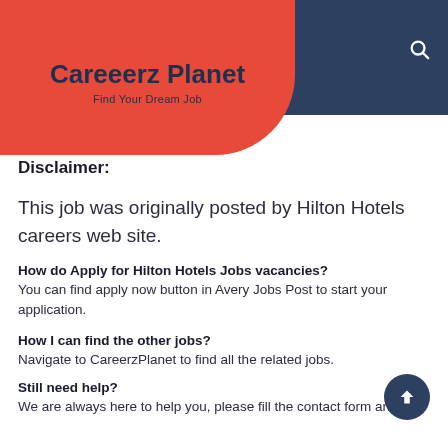Careeerz Planet — Find Your Dream Job
Disclaimer:
This job was originally posted by Hilton Hotels careers web site.
How do Apply for Hilton Hotels Jobs vacancies?
You can find apply now button in Avery Jobs Post to start your application.
How I can find the other jobs?
Navigate to CareerzPlanet to find all the related jobs.
Still need help?
We are always here to help you, please fill the contact form and we